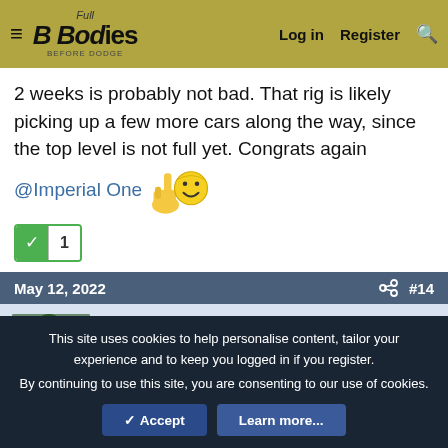≡  Full B Bodies Before Dodge | Log in  Register  🔍
2 weeks is probably not bad. That rig is likely picking up a few more cars along the way, since the top level is not full yet. Congrats again @Imperial One 👍😊
✓ 1
May 12, 2022   🔗  #14
67440chrg
Well-Known Member
Local time: 7:00 PM
Joined: Nov 20, 2011
Messages: 1,646
Reaction score: 1,280
Location: A free country
This site uses cookies to help personalise content, tailor your experience and to keep you logged in if you register.
By continuing to use this site, you are consenting to our use of cookies.
[✓ Accept]  [Learn more...]